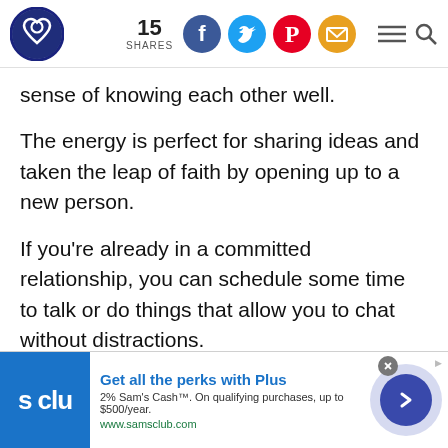15 SHARES [social share icons: Facebook, Twitter, Pinterest, Email] [menu and search icons]
sense of knowing each other well.
The energy is perfect for sharing ideas and taken the leap of faith by opening up to a new person.
If you're already in a committed relationship, you can schedule some time to talk or do things that allow you to chat without distractions.
[Figure (infographic): Advertisement banner: Sam's Club 'Get all the perks with Plus' ad with blue logo showing 's clu', text '2% Sam's Cash™. On qualifying purchases, up to $500/year. www.samsclub.com', arrow button, close button, and ad label arrow.]